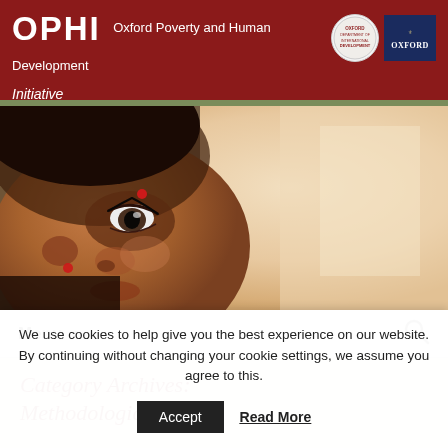OPHI Oxford Poverty and Human Development Initiative
[Figure (photo): Close-up photo of a young South Asian girl's face, with dark eyes and a red bindi, partially in shadow. Background is pale beige/tan.]
Menu
Category Archives:
Methodological Note
We use cookies to help give you the best experience on our website. By continuing without changing your cookie settings, we assume you agree to this.
Accept
Read More